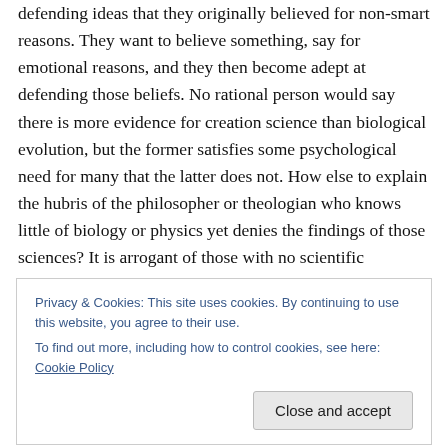defending ideas that they originally believed for non-smart reasons. They want to believe something, say for emotional reasons, and they then become adept at defending those beliefs. No rational person would say there is more evidence for creation science than biological evolution, but the former satisfies some psychological need for many that the latter does not. How else to explain the hubris of the philosopher or theologian who knows little of biology or physics yet denies the findings of those sciences? It is arrogant of those with no scientific
Privacy & Cookies: This site uses cookies. By continuing to use this website, you agree to their use.
To find out more, including how to control cookies, see here: Cookie Policy
something emotional had short-circuited his rational